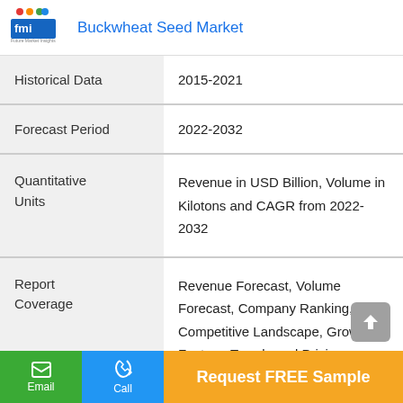Buckwheat Seed Market
|  |  |
| --- | --- |
| Historical Data | 2015-2021 |
| Forecast Period | 2022-2032 |
| Quantitative Units | Revenue in USD Billion, Volume in Kilotons and CAGR from 2022-2032 |
| Report Coverage | Revenue Forecast, Volume Forecast, Company Ranking, Competitive Landscape, Growth Factors, Trends and Pricing Analysis |